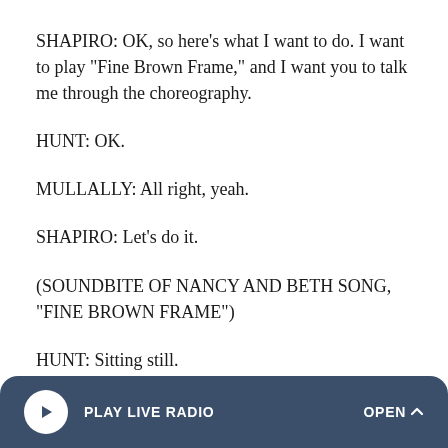SHAPIRO: OK, so here's what I want to do. I want to play "Fine Brown Frame," and I want you to talk me through the choreography.
HUNT: OK.
MULLALLY: All right, yeah.
SHAPIRO: Let's do it.
(SOUNDBITE OF NANCY AND BETH SONG, "FINE BROWN FRAME")
HUNT: Sitting still.
PLAY LIVE RADIO   OPEN ^